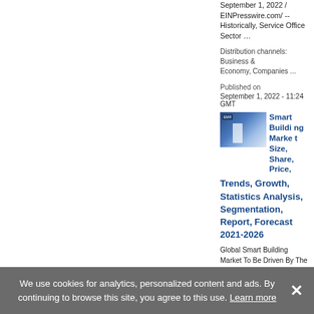September 1, 2022 / EINPresswire.com/ -- Historically, Service Office Sector …
Distribution channels: Business & Economy, Companies ...
Published on
September 1, 2022 - 11:24 GMT
[Figure (photo): Smart building thumbnail image with EMR logo]
Smart Building Market Size, Share, Price, Trends, Growth, Statistics Analysis, Segmentation, Report, Forecast 2021-2026
Global Smart Building Market To Be Driven By The Development Of IoT Enabled Buildings In The Forecast Period Of 2021-
We use cookies for analytics, personalized content and ads. By continuing to browse this site, you agree to this use. Learn more